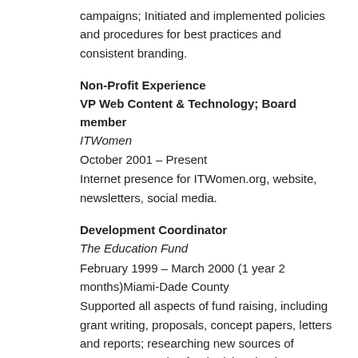campaigns; Initiated and implemented policies and procedures for best practices and consistent branding.
Non-Profit Experience
VP Web Content & Technology; Board member
ITWomen
October 2001 – Present
Internet presence for ITWomen.org, website, newsletters, social media.
Development Coordinator
The Education Fund
February 1999 – March 2000 (1 year 2 months)Miami-Dade County
Supported all aspects of fund raising, including grant writing, proposals, concept papers, letters and reports; researching new sources of revenue, managing fund raising database, reporting on fund raising activities to the Board